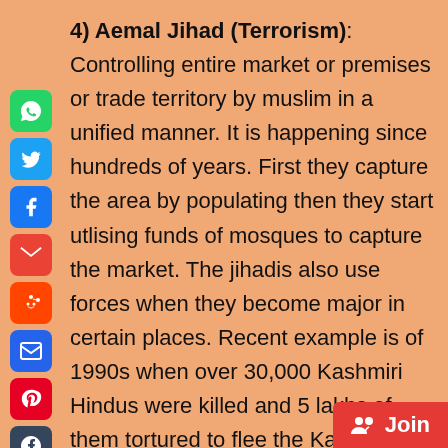4) Aemal Jihad (Terrorism): Controlling entire market or premises or trade territory by muslim in a unified manner. It is happening since hundreds of years. First they capture the area by populating then they start utlising funds of mosques to capture the market. The jihadis also use forces when they become major in certain places. Recent example is of 1990s when over 30,000 Kashmiri Hindus were killed and 5 lakhs of them tortured to flee the Kashmir so that muslims can control entire tourism, handicraft and pilgrimage market from the Hindus which was worth 12,000 crores. That's why in entire India whenever you see Kashmir Handicraft Exhibitions you will only find muslim sellers, no Hindu is trading as they were system...
[Figure (other): Social media sharing icons on the left: WhatsApp, Twitter, Facebook, Gmail, Reddit, Email, Pinterest, Tumblr, LinkedIn, More (+)]
[Figure (other): Red Join button in bottom-right corner with group/people icon]